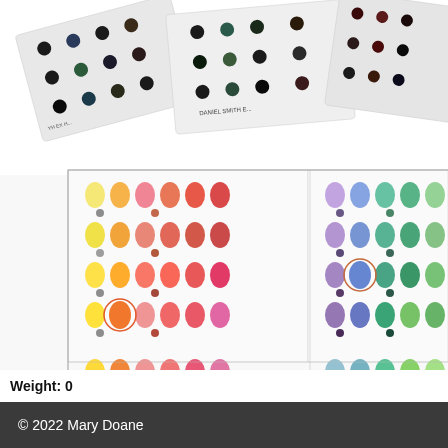[Figure (photo): Photo of Daniel Smith watercolor paint dot cards and color swatch sheets arranged on a white surface. The top portion shows fanned-out dot cards with dark paint swatches and labels. The bottom large portion shows multiple organized watercolor swatch sheets with colorful tree/mushroom-shaped paint swatches arranged in grids across yellows, oranges, pinks, reds, blues, greens, browns, grays, and neutrals. Some swatches are circled in orange/red pencil.]
Weight:  0
© 2022 Mary Doane